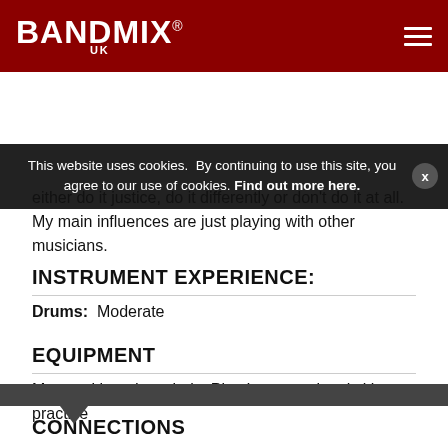BANDMIX UK
This website uses cookies.  By continuing to use this site, you agree to our use of cookies. Find out more here.
either do it justice, do it differently or don't do it at all. My main influences are just playing with other musicians.
INSTRUMENT EXPERIENCE:
Drums:  Moderate
EQUIPMENT
My own kit and cymbals. Plus I use an electric kit to practice
CONNECTIONS